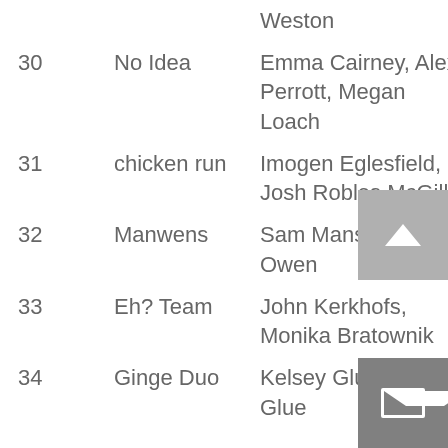| # | Team | Members | Time | Score |
| --- | --- | --- | --- | --- |
|  |  | Weston |  |  |
| 30 | No Idea | Emma Cairney, Alex Perrott, Megan Loach | 01:24:19 | 74 |
| 31 | chicken run | Imogen Eglesfield, Josh Robles McGill | 02:10:02 | 69 |
| 32 | Manwens | Sam Manson, Lisa Owen | 01:16:40 | 62 |
| 33 | Eh? Team | John Kerkhofs, Monika Bratownik | 01:59:46 | 60 |
| 34 | Ginge Duo | Kelsey Glue, Steve Glue | 01:49:00 | 59 |